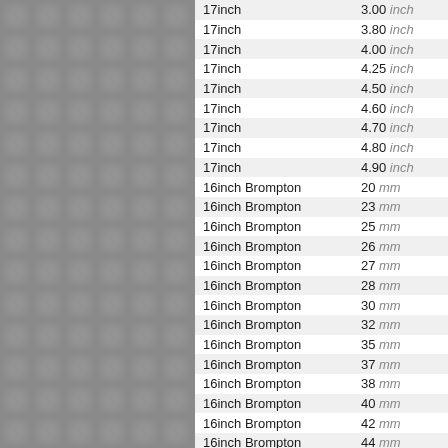| Wheel Size | Width |
| --- | --- |
| 17inch | 3.00 inch |
| 17inch | 3.80 inch |
| 17inch | 4.00 inch |
| 17inch | 4.25 inch |
| 17inch | 4.50 inch |
| 17inch | 4.60 inch |
| 17inch | 4.70 inch |
| 17inch | 4.80 inch |
| 17inch | 4.90 inch |
| 16inch Brompton | 20 mm |
| 16inch Brompton | 23 mm |
| 16inch Brompton | 25 mm |
| 16inch Brompton | 26 mm |
| 16inch Brompton | 27 mm |
| 16inch Brompton | 28 mm |
| 16inch Brompton | 30 mm |
| 16inch Brompton | 32 mm |
| 16inch Brompton | 35 mm |
| 16inch Brompton | 37 mm |
| 16inch Brompton | 38 mm |
| 16inch Brompton | 40 mm |
| 16inch Brompton | 42 mm |
| 16inch Brompton | 44 mm |